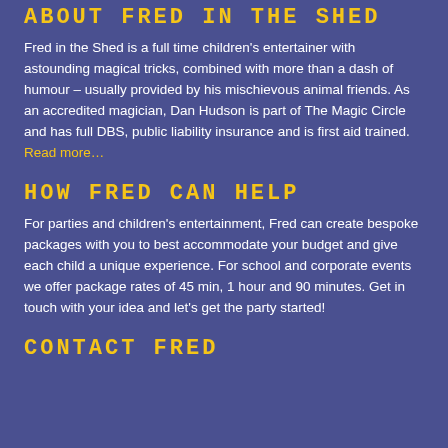ABOUT FRED IN THE SHED
Fred in the Shed is a full time children's entertainer with astounding magical tricks, combined with more than a dash of humour – usually provided by his mischievous animal friends. As an accredited magician, Dan Hudson is part of The Magic Circle and has full DBS, public liability insurance and is first aid trained. Read more…
HOW FRED CAN HELP
For parties and children's entertainment, Fred can create bespoke packages with you to best accommodate your budget and give each child a unique experience. For school and corporate events we offer package rates of 45 min, 1 hour and 90 minutes. Get in touch with your idea and let's get the party started!
CONTACT FRED